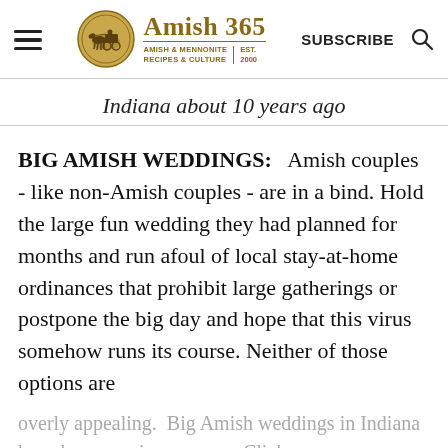Amish 365 — AMISH & MENNONITE RECIPES & CULTURE | EST. 2000 | SUBSCRIBE
Indiana about 10 years ago
BIG AMISH WEDDINGS: Amish couples - like non-Amish couples - are in a bind. Hold the large fun wedding they had planned for months and run afoul of local stay-at-home ordinances that prohibit large gatherings or postpone the big day and hope that this virus somehow runs its course. Neither of those options are
overly appealing.  Big Amish weddings in Indiana have been causing concern. Click